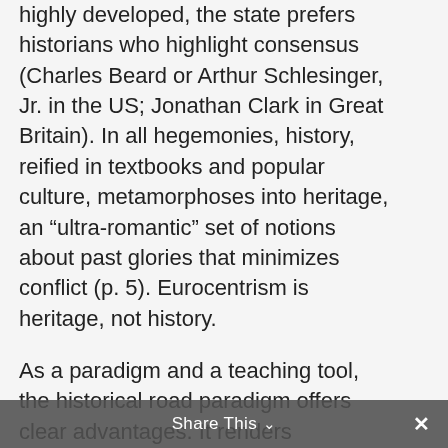highly developed, the state prefers historians who highlight consensus (Charles Beard or Arthur Schlesinger, Jr. in the US; Jonathan Clark in Great Britain). In all hegemonies, history, reified in textbooks and popular culture, metamorphoses into heritage, an “ultra-romantic” set of notions about past glories that minimizes conflict (p. 5). Eurocentrism is heritage, not history.
As a paradigm and a teaching tool, the historical road paradigm offers clear advantages. It renders tribal/ethnic societies, otherwise labeled “underdeveloped” and outside the master historical narrative, comprehensible through the same paradigm as “advanced” capitalist nation-states.
Share This